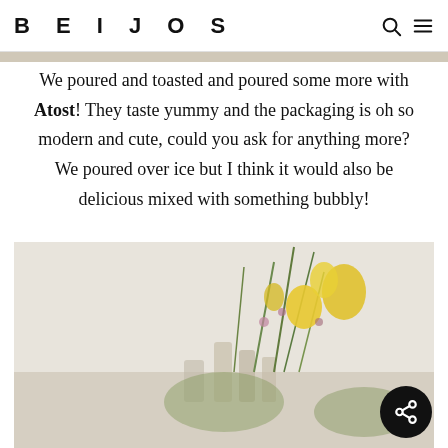BEIJOS
We poured and toasted and poured some more with Atost! They taste yummy and the packaging is oh so modern and cute, could you ask for anything more? We poured over ice but I think it would also be delicious mixed with something bubbly!
[Figure (photo): Table setting with yellow wildflowers, greenery, and glass bottles/cups arranged on a table, photographed from slightly above.]